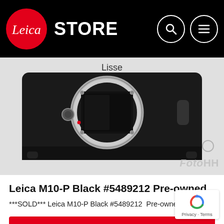STORE Lisse
[Figure (photo): Leica M10-P Black camera body (body only, no lens) shown from front, black textured finish, silver bayonet mount, on white background. FotoHH watermark visible.]
Leica M10-P Black #5489212 Pre-owned
***SOLD*** Leica M10-P Black #5489212  Pre-owned....
View product